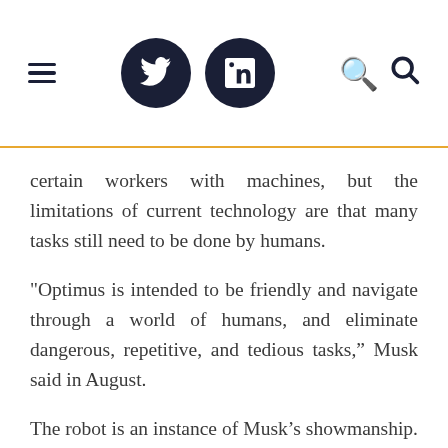Navigation header with hamburger menu, Twitter icon, LinkedIn icon, and search icon
certain workers with machines, but the limitations of current technology are that many tasks still need to be done by humans.
"Optimus is intended to be friendly and navigate through a world of humans, and eliminate dangerous, repetitive, and tedious tasks," Musk said in August.
The robot is an instance of Musk’s showmanship. He announces that Tesla works on exciting products scheduled for years into the future that helps to energize employees, customers, and investors. Often, the innovations announced aren’t realized within the projected timeline.